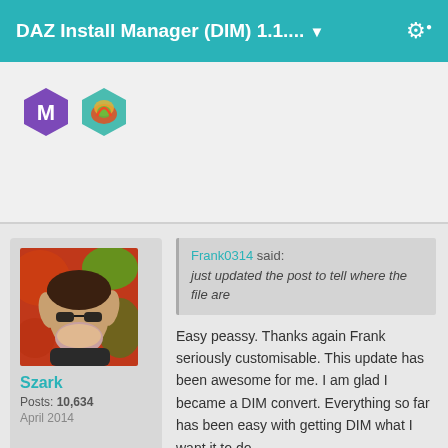DAZ Install Manager (DIM) 1.1.... ▼
[Figure (screenshot): Previous post user badges - purple M hexagon badge and teal flame/badge icon]
Szark
Posts: 10,634
April 2014
Frank0314 said: just updated the post to tell where the file are
Easy peassy. Thanks again Frank seriously customisable. This update has been awesome for me. I am glad I became a DIM convert. Everything so far has been easy with getting DIM what I want it to do.